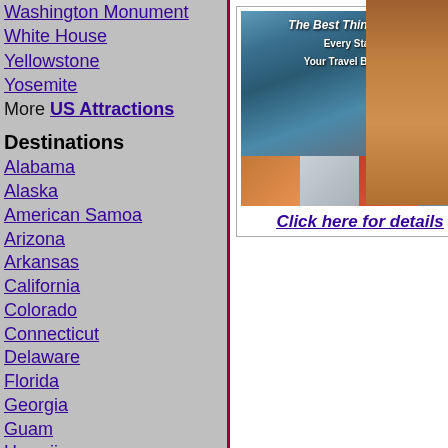Washington Monument
White House
Yellowstone
Yosemite
More US Attractions
Destinations
Alabama
Alaska
American Samoa
Arizona
Arkansas
California
Colorado
Connecticut
Delaware
Florida
Georgia
Guam
Hawaii
Idaho
Illinois
Indiana
Iowa
Kansas
Kentucky
Louisiana
[Figure (illustration): Travel book advertisement showing mountain cabin scene with thumbnail images below. Text: The Best Things to Do in Every State for Your Travel Bucket List. Click here for details.]
[Figure (photo): Partial image cut off on right side, showing reddish-brown landscape/rock formation.]